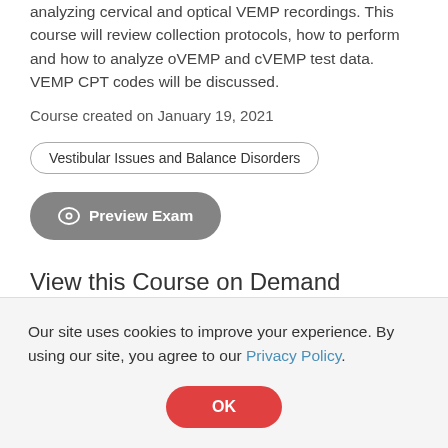analyzing cervical and optical VEMP recordings. This course will review collection protocols, how to perform and how to analyze oVEMP and cVEMP test data. VEMP CPT codes will be discussed.
Course created on January 19, 2021
Vestibular Issues and Balance Disorders
[Figure (screenshot): Preview Exam button with eye icon, dark gray rounded pill shape]
View this Course on Demand
Our site uses cookies to improve your experience. By using our site, you agree to our Privacy Policy.
[Figure (screenshot): OK button, red rounded pill shape]